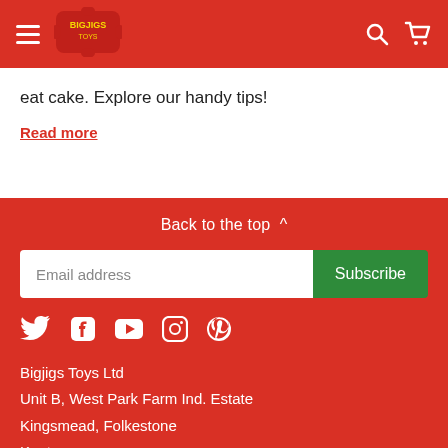[Figure (logo): Bigjigs Toys logo - red puzzle piece shape with yellow BIGJIGS text]
eat cake. Explore our handy tips!
Read more
Back to the top ^
Email address
Subscribe
[Figure (infographic): Social media icons: Twitter, Facebook, YouTube, Instagram, Pinterest]
Bigjigs Toys Ltd
Unit B, West Park Farm Ind. Estate
Kingsmead, Folkestone
Kent